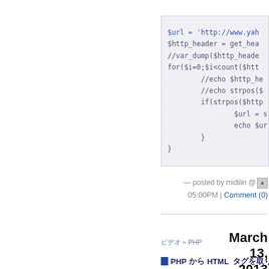[Figure (screenshot): Code block showing PHP code snippet with dotted border and light gray background. Code includes $url assignment, $http_header = get_hea..., //var_dump($http_heade..., for loop, //echo $http_he..., //echo strpos($..., if(strpos($http..., $url = s..., echo $ur..., closing braces.]
— posted by midilin @▲
05:00PM | Comment (0)
ビデオ » PHP   March 13, 2013
■ PHPからHTML タグを取り除く